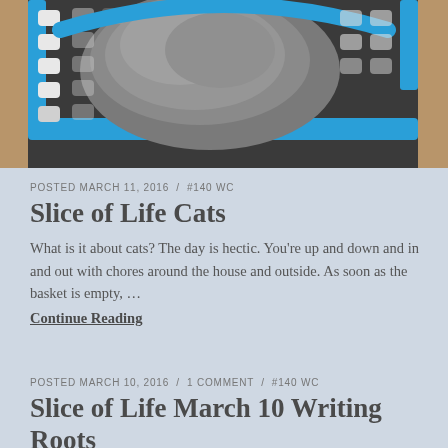[Figure (photo): A grey cat sitting inside a blue plastic laundry basket with circular holes, photographed from above/side angle on a wooden floor.]
POSTED MARCH 11, 2016 / #140 WC
Slice of Life Cats
What is it about cats? The day is hectic. You're up and down and in and out with chores around the house and outside. As soon as the basket is empty, …
Continue Reading
POSTED MARCH 10, 2016 / 1 COMMENT / #140 WC
Slice of Life March 10 Writing Roots